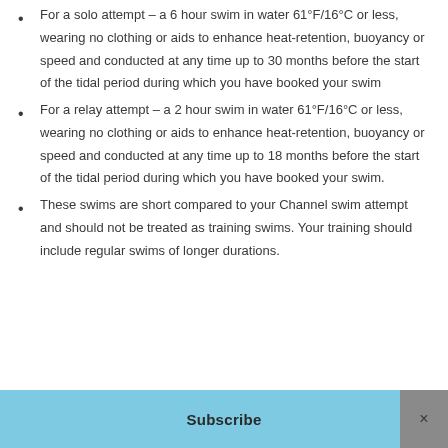For a solo attempt – a 6 hour swim in water 61°F/16°C or less, wearing no clothing or aids to enhance heat-retention, buoyancy or speed and conducted at any time up to 30 months before the start of the tidal period during which you have booked your swim
For a relay attempt – a 2 hour swim in water 61°F/16°C or less, wearing no clothing or aids to enhance heat-retention, buoyancy or speed and conducted at any time up to 18 months before the start of the tidal period during which you have booked your swim.
These swims are short compared to your Channel swim attempt and should not be treated as training swims. Your training should include regular swims of longer durations.
Subscribe  ×